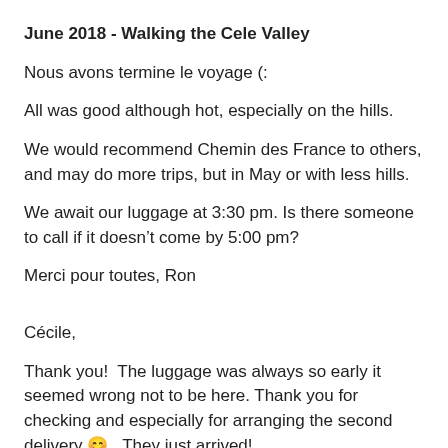June 2018 - Walking the Cele Valley
Nous avons termine le voyage (:
All was good although hot, especially on the hills.
We would recommend Chemin des France to others, and may do more trips, but in May or with less hills.
We await our luggage at 3:30 pm. Is there someone to call if it doesn’t come by 5:00 pm?
Merci pour toutes, Ron
Cécile,
Thank you!  The luggage was always so early it seemed wrong not to be here. Thank you for checking and especially for arranging the second delivery 😊.  They just arrived!
Now there is nothing I can say that is not a compliment.
We will be writing a more overall review but want you to know...